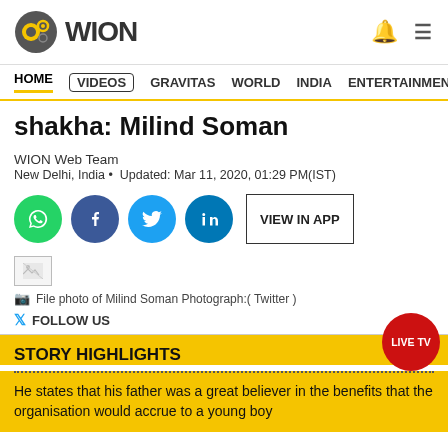[Figure (logo): WION logo with circular icon and text]
HOME  VIDEOS  GRAVITAS  WORLD  INDIA  ENTERTAINMENT  SPORT
shakha: Milind Soman
WION Web Team
New Delhi, India • Updated: Mar 11, 2020, 01:29 PM(IST)
[Figure (infographic): Social share buttons: WhatsApp, Facebook, Twitter, LinkedIn, and VIEW IN APP button]
[Figure (photo): Small broken image placeholder]
File photo of Milind Soman Photograph:( Twitter )
FOLLOW US
STORY HIGHLIGHTS
He states that his father was a great believer in the benefits that the organisation would accrue to a young boy